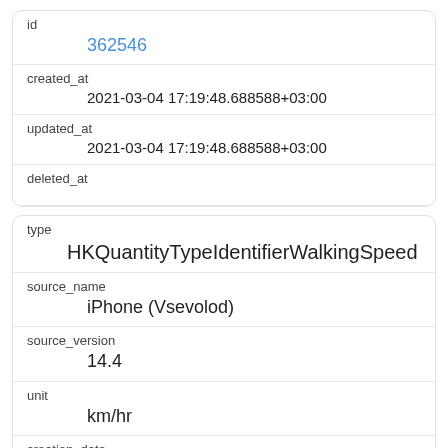| id | 362546 |
| created_at | 2021-03-04 17:19:48.688588+03:00 |
| updated_at | 2021-03-04 17:19:48.688588+03:00 |
| deleted_at |  |
| type | HKQuantityTypeIdentifierWalkingSpeed |
| source_name | iPhone (Vsevolod) |
| source_version | 14.4 |
| unit | km/hr |
| creation_date | 2021-03-04 15:11:06+03:00 |
| start_date | 2021-03-04 15:05:26+03:00 |